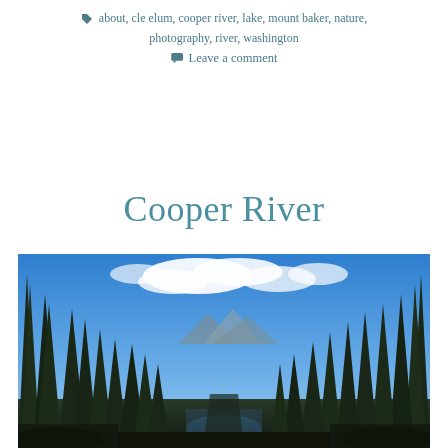about, cle elum, cooper river, lake, mount baker, nature, photography, river, washington
Leave a comment
Cooper River
[Figure (photo): Photograph of Cooper River area showing tall evergreen trees (Douglas firs/spruce) lining both sides of a river valley, with blue sky and white clouds above, and mountains visible in the background distance.]